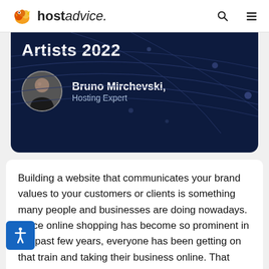hostadvice.
[Figure (illustration): Dark navy hero banner with partial title text 'Artists 2022' and author info: Bruno Mirchevski, Hosting Expert, with circular avatar photo]
Building a website that communicates your brand values to your customers or clients is something many people and businesses are doing nowadays. Since online shopping has become so prominent in the past few years, everyone has been getting on that train and taking their business online. That includes artists as well.